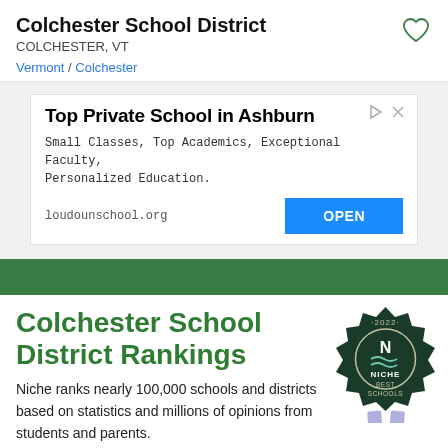Colchester School District
COLCHESTER, VT
Vermont / Colchester
[Figure (other): Advertisement banner: Top Private School in Ashburn. Small Classes, Top Academics, Exceptional Faculty, Personalized Education. loudounschool.org OPEN button.]
Colchester School District Rankings
Niche ranks nearly 100,000 schools and districts based on statistics and millions of opinions from students and parents.
Best School Districts in Vermont
#2 of 32
[Figure (logo): 2022 Niche Best Schools badge — dark green seal with ribbon]